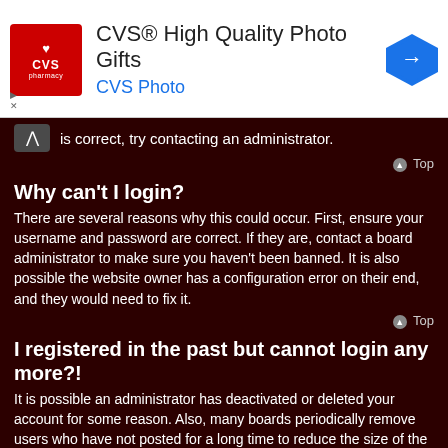[Figure (screenshot): CVS Pharmacy advertisement banner with red logo, text 'CVS® High Quality Photo Gifts', 'CVS Photo' subtitle, and blue arrow navigation icon]
is correct, try contacting an administrator.
Why can't I login?
There are several reasons why this could occur. First, ensure your username and password are correct. If they are, contact a board administrator to make sure you haven't been banned. It is also possible the website owner has a configuration error on their end, and they would need to fix it.
I registered in the past but cannot login any more?!
It is possible an administrator has deactivated or deleted your account for some reason. Also, many boards periodically remove users who have not posted for a long time to reduce the size of the database. If this has happened, try registering again and being more involved in discussions.
I've lost my password!